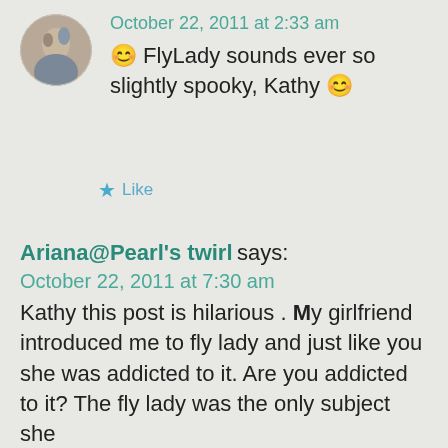[Figure (photo): Round avatar image of a person, circular crop, showing a painted or illustrated style portrait]
October 22, 2011 at 2:33 am
😊 FlyLady sounds ever so slightly spooky, Kathy 😊
★ Like
Ariana@Pearl's twirl says:
October 22, 2011 at 7:30 am
Kathy this post is hilarious . My girlfriend introduced me to fly lady and just like you she was addicted to it. Are you addicted to it? The fly lady was the only subject she